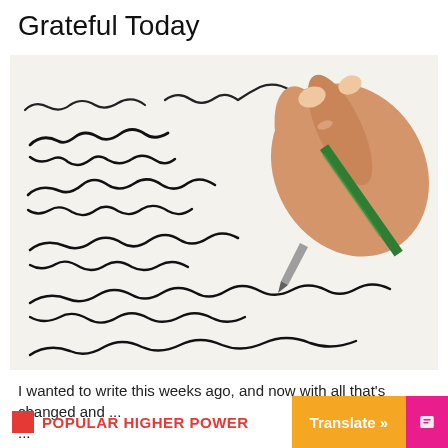Grateful Today
[Figure (photo): A hand holding a green pen writing cursive text on white paper, viewed from above at an angle.]
I wanted to write this weeks ago, and now with all that's changed and ...
POPULAR HIGHER POWER   Translate »